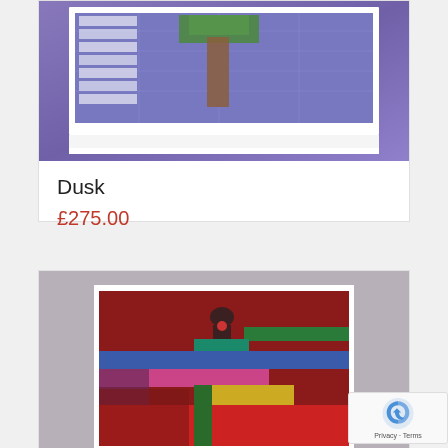[Figure (photo): Framed abstract artwork with purple/blue tones, white geometric shapes on left, brown vertical column in center, green patch at top — artwork titled Dusk]
Dusk
£275.00
[Figure (photo): Abstract artwork with bold colorful horizontal stripes on dark red/crimson background — blues, pinks, greens, yellow, with dark figure silhouette at top center]